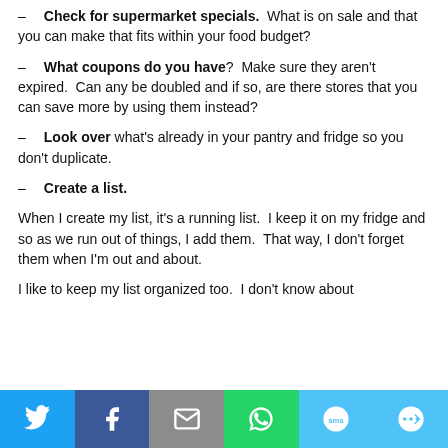– Check for supermarket specials. What is on sale and that you can make that fits within your food budget?
– What coupons do you have? Make sure they aren't expired. Can any be doubled and if so, are there stores that you can save more by using them instead?
– Look over what's already in your pantry and fridge so you don't duplicate.
– Create a list.
When I create my list, it's a running list. I keep it on my fridge and so as we run out of things, I add them. That way, I don't forget them when I'm out and about.
I like to keep my list organized too. I don't know about